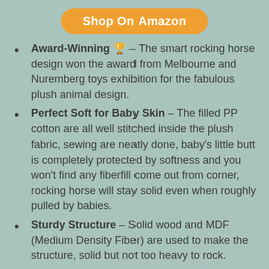[Figure (other): Orange rounded button with text 'Shop On Amazon']
Award-Winning 🏆 – The smart rocking horse design won the award from Melbourne and Nuremberg toys exhibition for the fabulous plush animal design.
Perfect Soft for Baby Skin – The filled PP cotton are all well stitched inside the plush fabric, sewing are neatly done, baby's little butt is completely protected by softness and you won't find any fiberfill come out from corner, rocking horse will stay solid even when roughly pulled by babies.
Sturdy Structure – Solid wood and MDF (Medium Density Fiber) are used to make the structure, solid but not too heavy to rock.
Easy Assemble & Easy Cleaning 🔧 – The package has clearly installation instructions, you can